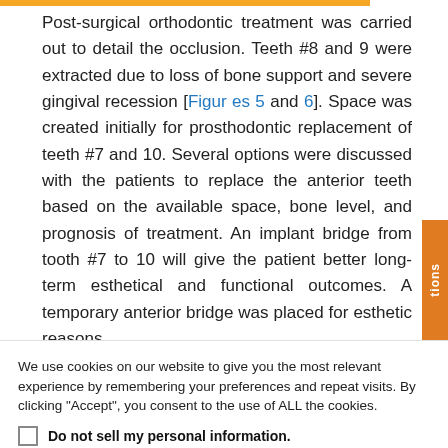Post-surgical orthodontic treatment was carried out to detail the occlusion. Teeth #8 and 9 were extracted due to loss of bone support and severe gingival recession [Figures 5 and 6]. Space was created initially for prosthodontic replacement of teeth #7 and 10. Several options were discussed with the patients to replace the anterior teeth based on the available space, bone level, and prognosis of treatment. An implant bridge from tooth #7 to 10 will give the patient better long-term esthetical and functional outcomes. A temporary anterior bridge was placed for esthetic reasons.
We use cookies on our website to give you the most relevant experience by remembering your preferences and repeat visits. By clicking "Accept", you consent to the use of ALL the cookies.
Do not sell my personal information.
Cookie Settings   Accept